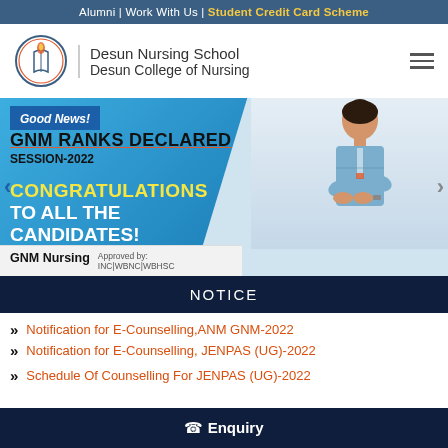Alumni | Work With Us | Student Credit Card Scheme
Desun Nursing School
Desun College of Nursing
[Figure (screenshot): Promotional banner for Desun Nursing School announcing GNM Ranks Declared Session-2022, Congratulations to all the Candidates, with image of a nurse in uniform]
NOTICE
Notification for E-Counselling,ANM GNM-2022
Notification for E-Counselling, JENPAS (UG)-2022
Schedule Of Counselling For JENPAS (UG)-2022
Enquiry